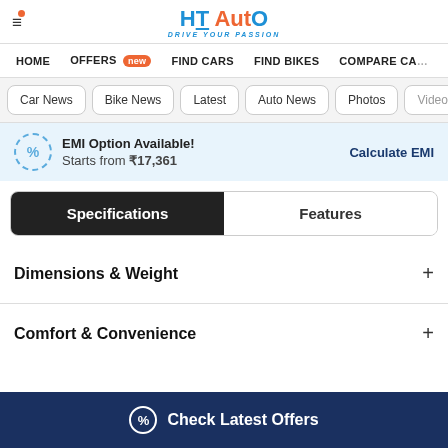HT Auto - Drive Your Passion
HOME
OFFERS new
FIND CARS
FIND BIKES
COMPARE CA...
Car News
Bike News
Latest
Auto News
Photos
Videos
EMI Option Available! Starts from ₹17,361  Calculate EMI
Specifications
Features
Dimensions & Weight
Comfort & Convenience
Check Latest Offers